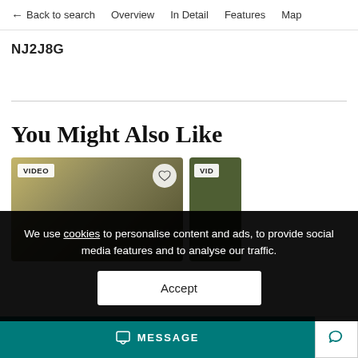← Back to search   Overview   In Detail   Features   Map
NJ2J8G
You Might Also Like
[Figure (photo): Two property listing card thumbnails with VIDEO badges, one showing a golden/olive gradient background, another showing dark green. A heart/favourite icon is visible on the first card.]
We use cookies to personalise content and ads, to provide social media features and to analyse our traffic.
Accept